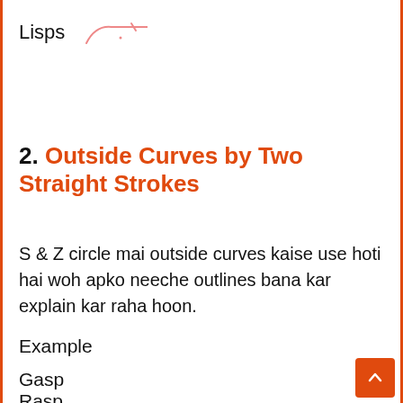Lisps
2. Outside Curves by Two Straight Strokes
S & Z circle mai outside curves kaise use hoti hai woh apko neeche outlines bana kar explain kar raha hoon.
Example
Gasp
Rasp